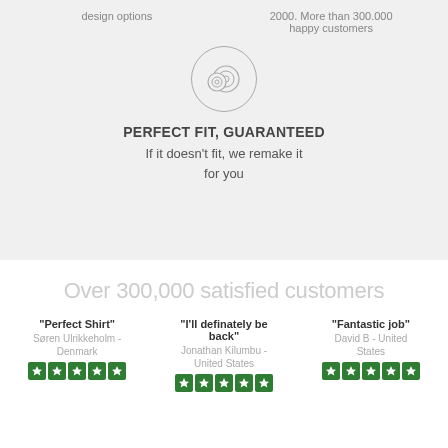design options
2000. More than 300.000 happy customers
[Figure (illustration): Icon of a measuring tape roll inside a circle]
PERFECT FIT, GUARANTEED
If it doesn't fit, we remake it for you
Over 300,000 satisfied customers
"Perfect Shirt" Søren Ulrikkeholm - Denmark
"I'll definately be back" Jonathan Kilumbu - United States
"Fantastic job" David B - United States